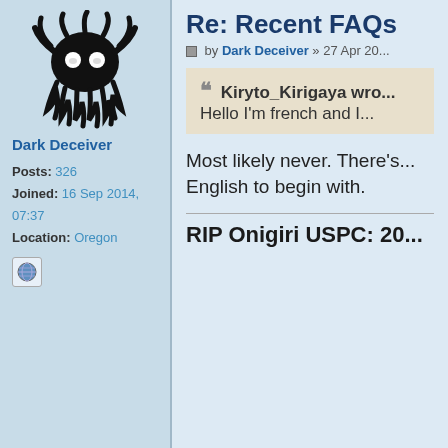[Figure (illustration): Dark octopus-like creature avatar with glowing white eyes]
Dark Deceiver
Posts: 326
Joined: 16 Sep 2014, 07:37
Location: Oregon
Re: Recent FAQs
by Dark Deceiver » 27 Apr 20...
Kiryto_Kirigaya wro...
Hello I'm french and I...
Most likely never. There's... English to begin with.
RIP Onigiri USPC: 20...
Lelouch Zyro
Posts: 13
Joined: 04 Nov 2014, 12:47
Re: Recent FAQs
by Lelouch Zyro » 10 May 20...
When will the Standard C...